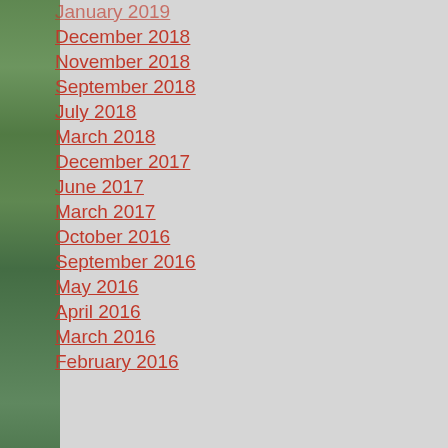January 2019
December 2018
November 2018
September 2018
July 2018
March 2018
December 2017
June 2017
March 2017
October 2016
September 2016
May 2016
April 2016
March 2016
February 2016